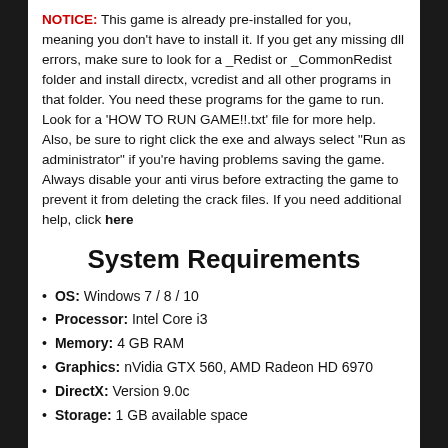NOTICE: This game is already pre-installed for you, meaning you don't have to install it. If you get any missing dll errors, make sure to look for a _Redist or _CommonRedist folder and install directx, vcredist and all other programs in that folder. You need these programs for the game to run. Look for a 'HOW TO RUN GAME!!.txt' file for more help. Also, be sure to right click the exe and always select "Run as administrator" if you're having problems saving the game. Always disable your anti virus before extracting the game to prevent it from deleting the crack files. If you need additional help, click here
System Requirements
OS: Windows 7 / 8 / 10
Processor: Intel Core i3
Memory: 4 GB RAM
Graphics: nVidia GTX 560, AMD Radeon HD 6970
DirectX: Version 9.0c
Storage: 1 GB available space